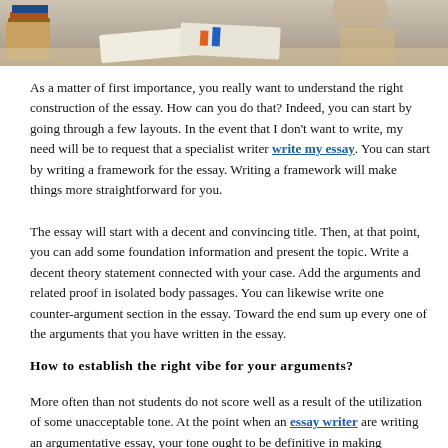[Figure (photo): Photo of a student studying with books and papers on a desk, viewed from above at an angle]
As a matter of first importance, you really want to understand the right construction of the essay. How can you do that? Indeed, you can start by going through a few layouts. In the event that I don't want to write, my need will be to request that a specialist writer write my essay. You can start by writing a framework for the essay. Writing a framework will make things more straightforward for you.
The essay will start with a decent and convincing title. Then, at that point, you can add some foundation information and present the topic. Write a decent theory statement connected with your case. Add the arguments and related proof in isolated body passages. You can likewise write one counter-argument section in the essay. Toward the end sum up every one of the arguments that you have written in the essay.
How to establish the right vibe for your arguments?
More often than not students do not score well as a result of the utilization of some unacceptable tone. At the point when an essay writer are writing an argumentative essay, your tone ought to be definitive in making arguments. Doing that appears to be a troublesome assignment